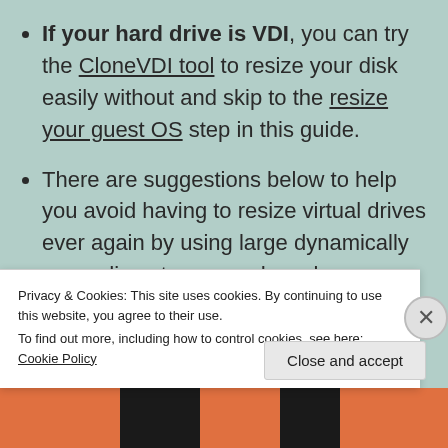If your hard drive is VDI, you can try the CloneVDI tool to resize your disk easily without and skip to the resize your guest OS step in this guide.
There are suggestions below to help you avoid having to resize virtual drives ever again by using large dynamically expanding storage and can be completed in 10-20 minutes.
Privacy & Cookies: This site uses cookies. By continuing to use this website, you agree to their use. To find out more, including how to control cookies, see here: Cookie Policy